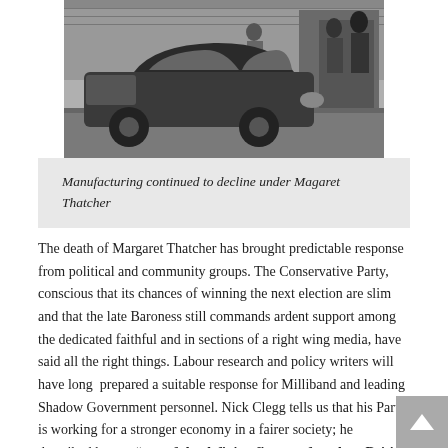[Figure (photo): Black and white photograph of a car parked outside a building, with people visible in the background near a doorway.]
Manufacturing continued to decline under Magaret Thatcher
The death of Margaret Thatcher has brought predictable response from political and community groups. The Conservative Party, conscious that its chances of winning the next election are slim and that the late Baroness still commands ardent support among the dedicated faithful and in sections of a right wing media, have said all the right things. Labour research and policy writers will have long  prepared a suitable response for Milliband and leading Shadow Government personnel. Nick Clegg tells us that his Party is working for a stronger economy in a fairer society; he described her  as “one of the defining figures of modern British politics”. Sitting on the fence again, Nick – some of